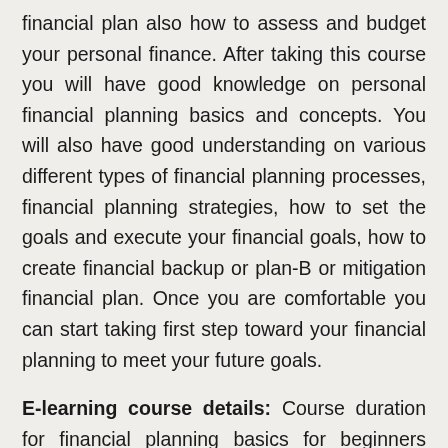financial plan also how to assess and budget your personal finance. After taking this course you will have good knowledge on personal financial planning basics and concepts. You will also have good understanding on various different types of financial planning processes, financial planning strategies, how to set the goals and execute your financial goals, how to create financial backup or plan-B or mitigation financial plan. Once you are comfortable you can start taking first step toward your financial planning to meet your future goals.
E-learning course details: Course duration for financial planning basics for beginners guide is